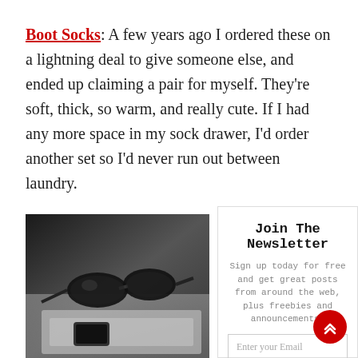Boot Socks: A few years ago I ordered these on a lightning deal to give someone else, and ended up claiming a pair for myself. They're soft, thick, so warm, and really cute. If I had any more space in my sock drawer, I'd order another set so I'd never run out between laundry.
[Figure (photo): Black and white photo of sunglasses resting on a laptop keyboard with a smartphone nearby]
× (close button)
Join The Newsletter
Sign up today for free and get great posts from around the web, plus freebies and announcements!
Enter your Email